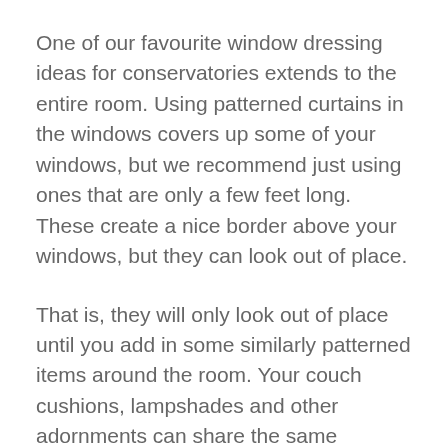One of our favourite window dressing ideas for conservatories extends to the entire room. Using patterned curtains in the windows covers up some of your windows, but we recommend just using ones that are only a few feet long. These create a nice border above your windows, but they can look out of place.
That is, they will only look out of place until you add in some similarly patterned items around the room. Your couch cushions, lampshades and other adornments can share the same patterns as the curtains, tying everything together and making your conservatory look unified.